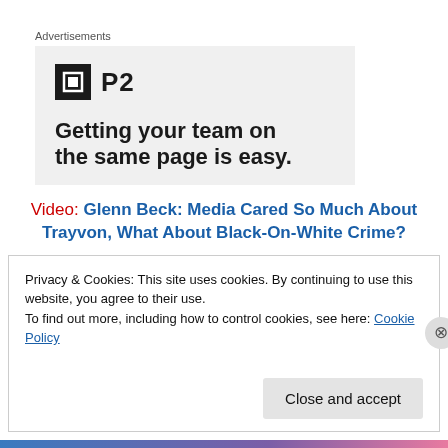Advertisements
[Figure (screenshot): P2 advertisement banner with logo and tagline 'Getting your team on the same page is easy.']
Video: Glenn Beck: Media Cared So Much About Trayvon, What About Black-On-White Crime?
Privacy & Cookies: This site uses cookies. By continuing to use this website, you agree to their use.
To find out more, including how to control cookies, see here: Cookie Policy
Close and accept